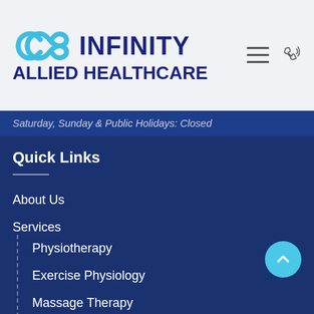[Figure (logo): Infinity Allied Healthcare logo with cyan infinity symbol and dark blue bold text]
Saturday, Sunday & Public Holidays: Closed
Quick Links
About Us
Services
Physiotherapy
Exercise Physiology
Massage Therapy
Patient Info
For Referring Doctors
Book Online